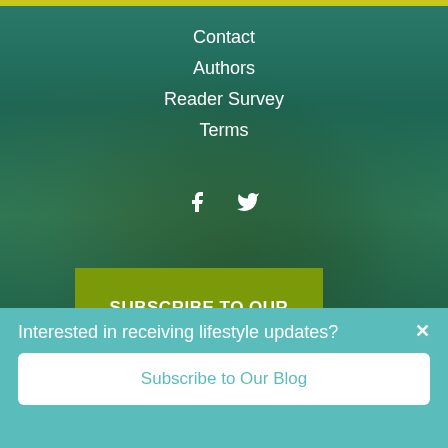[Figure (photo): Background photo of sheep grazing in a green field with a fence, overlaid with a dark teal/green transparent color overlay. A yellow/olive bar appears at the very top.]
Contact
Authors
Reader Survey
Terms
[Figure (infographic): Facebook and Twitter social media icons in white]
SUBSCRIBE TO OUR DIGITAL MAGAZINE
Interested in receiving lifestyle updates?
Subscribe to Our Blog